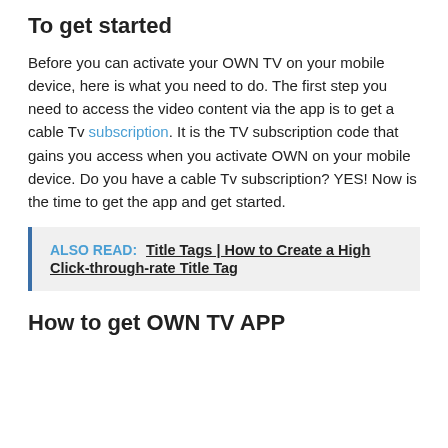To get started
Before you can activate your OWN TV on your mobile device, here is what you need to do. The first step you need to access the video content via the app is to get a cable Tv subscription. It is the TV subscription code that gains you access when you activate OWN on your mobile device. Do you have a cable Tv subscription? YES! Now is the time to get the app and get started.
ALSO READ:  Title Tags | How to Create a High Click-through-rate Title Tag
How to get OWN TV APP